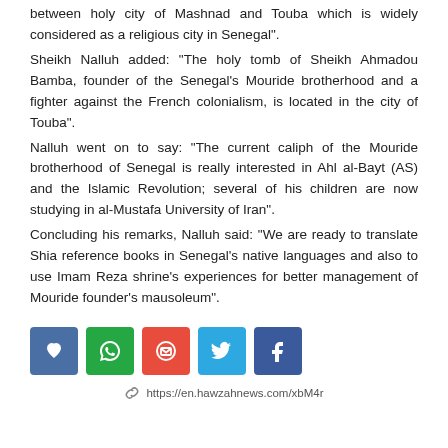between holy city of Mashnad and Touba which is widely considered as a religious city in Senegal".
Sheikh Nalluh added: “The holy tomb of Sheikh Ahmadou Bamba, founder of the Senegal’s Mouride brotherhood and a fighter against the French colonialism, is located in the city of Touba".
Nalluh went on to say: "The current caliph of the Mouride brotherhood of Senegal is really interested in Ahl al-Bayt (AS) and the Islamic Revolution; several of his children are now studying in al-Mustafa University of Iran".
Concluding his remarks, Nalluh said: "We are ready to translate Shia reference books in Senegal’s native languages and also to use Imam Reza shrine’s experiences for better management of Mouride founder’s mausoleum".
[Figure (other): Social sharing buttons: heart/bookmark (blue), WhatsApp (green), email (red), Twitter (blue), Facebook (dark blue)]
https://en.hawzahnews.com/xbM4r